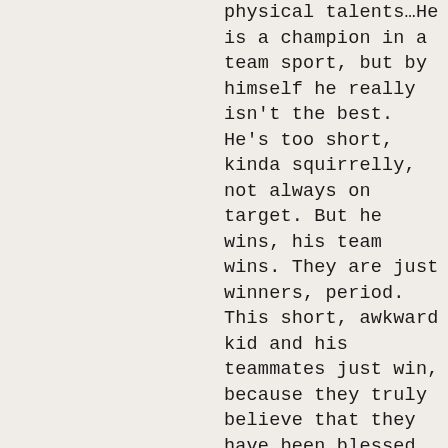physical talents…He is a champion in a team sport, but by himself he really isn't the best. He's too short, kinda squirrelly, not always on target. But he wins, his team wins. They are just winners, period. This short, awkward kid and his teammates just win, because they truly believe that they have been blessed with a potential for greatness – And they believe that it is their solemn duty to God to reach their